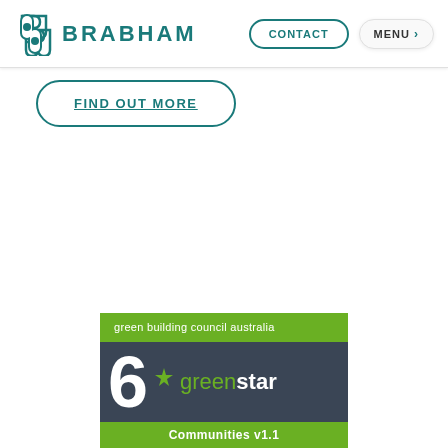BRABHAM | CONTACT | MENU
FIND OUT MORE
[Figure (logo): Green Building Council Australia 6 Green Star Communities v1.1 certification logo]